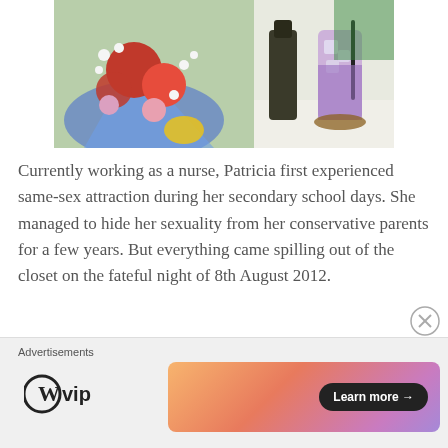[Figure (photo): A photo showing a bouquet of red roses wrapped in blue cellophane on the left, and a tall glass of purple drink with ice and a dark straw on a coaster with a dark bottle in the background on the right.]
Currently working as a nurse, Patricia first experienced same-sex attraction during her secondary school days. She managed to hide her sexuality from her conservative parents for a few years. But everything came spilling out of the closet on the fateful night of 8th August 2012.
Advertisements  WP VIP  Learn more →